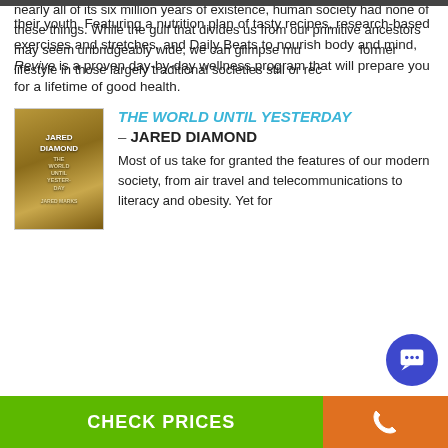their youth. Featuring a nutrition plan of tasty recipes, research-based exercises and stretches, and Daily Beats to nourish body and mind, Revive is a proven day-by-day wellness program that will prepare you for a lifetime of good health.
[Figure (photo): Book cover of The World Until Yesterday by Jared Diamond, showing a desert/arid landscape scene with golden-brown tones]
THE WORLD UNTIL YESTERDAY – JARED DIAMOND
Most of us take for granted the features of our modern society, from air travel and telecommunications to literacy and obesity. Yet for nearly all of its six million years of existence, human society had none of these things. While the gulf that divides us from our primitive ancestors may seem unbridgeably wide, we can glimpse much of our former lifestyle in those largely traditional societies still or recently in existence. Societies like those of the New Guinea highlands,